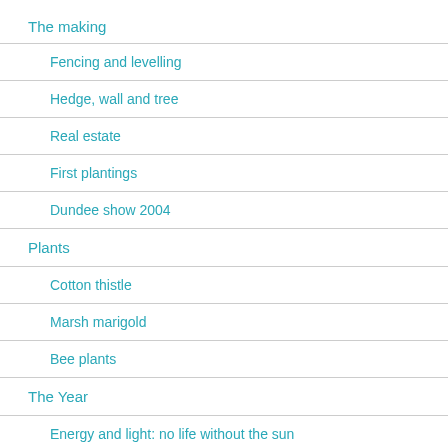The making
Fencing and levelling
Hedge, wall and tree
Real estate
First plantings
Dundee show 2004
Plants
Cotton thistle
Marsh marigold
Bee plants
The Year
Energy and light: no life without the sun
XQ1 February